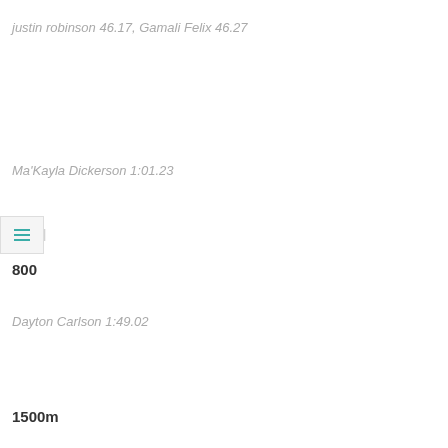justin robinson 46.17, Gamali Felix 46.27
[Figure (other): Hamburger menu icon in a box with a pipe character]
Ma'Kayla Dickerson 1:01.23
800
Dayton Carlson 1:49.02
1500m